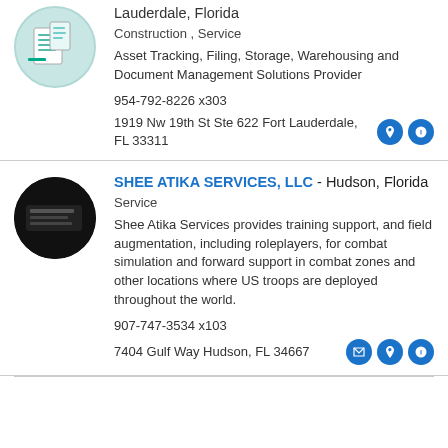[Figure (photo): Circular logo/thumbnail of a document management company, light teal background with paper/document imagery]
Lauderdale, Florida
Construction , Service
Asset Tracking, Filing, Storage, Warehousing and Document Management Solutions Provider
954-792-8226 x303
1919 Nw 19th St Ste 622 Fort Lauderdale, FL 33311
[Figure (photo): Circular dark/black logo of Shee Atika Services LLC]
SHEE ATIKA SERVICES, LLC - Hudson, Florida
Service
Shee Atika Services provides training support, and field augmentation, including roleplayers, for combat simulation and forward support in combat zones and other locations where US troops are deployed throughout the world.
907-747-3534 x103
7404 Gulf Way Hudson, FL 34667